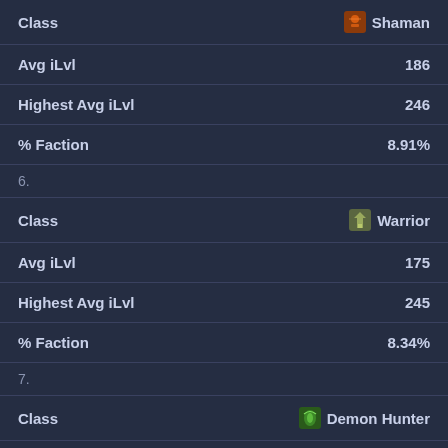| Field | Value |
| --- | --- |
| Class | Shaman |
| Avg iLvl | 186 |
| Highest Avg iLvl | 246 |
| % Faction | 8.91% |
| 6. |  |
| Class | Warrior |
| Avg iLvl | 175 |
| Highest Avg iLvl | 245 |
| % Faction | 8.34% |
| 7. |  |
| Class | Demon Hunter |
| Avg iLvl | 184 |